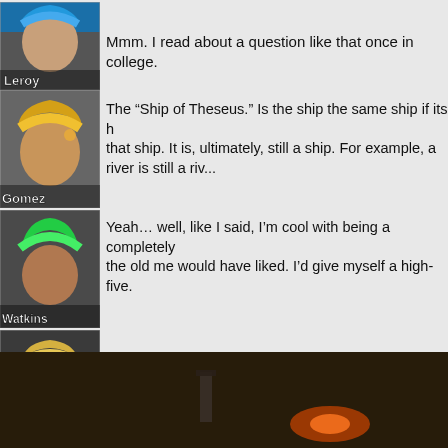[Figure (screenshot): Character avatar: Leroy, blue hair, game screenshot style]
Mmm. I read about a question like that once in college.
[Figure (screenshot): Character avatar: Gomez, yellow/blonde hair, game screenshot style]
The “Ship of Theseus.” Is the ship the same ship if its h... that ship. It is, ultimately, still a ship. For example, a river is still a riv...
[Figure (screenshot): Character avatar: Watkins, green hair, game screenshot style]
Yeah… well, like I said, I’m cool with being a completely... the old me would have liked. I’d give myself a high-five.
[Figure (screenshot): Character avatar: Rhino, blonde hair, dark skin, game screenshot style]
Hah! That's the spirit.
[Figure (screenshot): Dark scene background, cinematic game screenshot, glowing orange element visible]